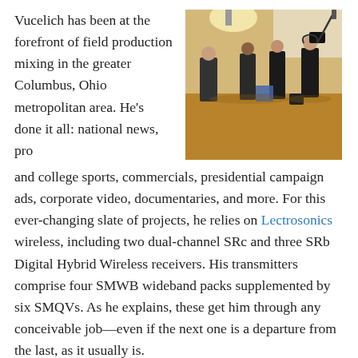Vucelich has been at the forefront of field production mixing in the greater Columbus, Ohio metropolitan area. He's done it all: national news, pro and college sports, commercials, presidential campaign ads, corporate video, documentaries, and more. For this ever-changing slate of projects, he relies on Lectrosonics wireless, including two dual-channel SRc and three SRb Digital Hybrid Wireless receivers. His transmitters comprise four SMWB wideband packs supplemented by six SMQVs. As he explains, these get him through any conceivable job—even if the next one is a departure from the last, as it usually is.
[Figure (photo): Film crew in a hotel/event room setting. Several people in black clothing, one person operating a camera with boom mic raised overhead, others standing talking. Warm-toned carpeted room with stage lighting visible.]
“Here in Ohio, you can’t just focus on one avenue of production. It’s a mixed bag, so every couple of days there’s a very different